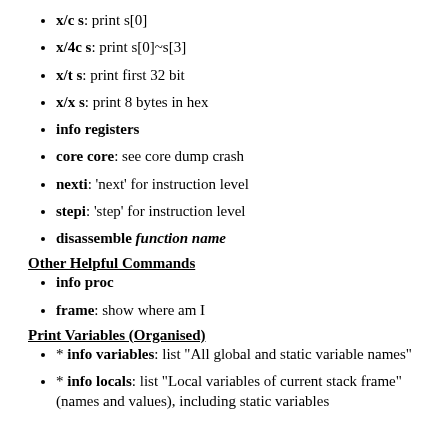x/c s: print s[0]
x/4c s: print s[0]~s[3]
x/t s: print first 32 bit
x/x s: print 8 bytes in hex
info registers
core core: see core dump crash
nexti: 'next' for instruction level
stepi: 'step' for instruction level
disassemble function name
Other Helpful Commands
info proc
frame: show where am I
Print Variables (Organised)
* info variables: list "All global and static variable names"
* info locals: list "Local variables of current stack frame" (names and values), including static variables